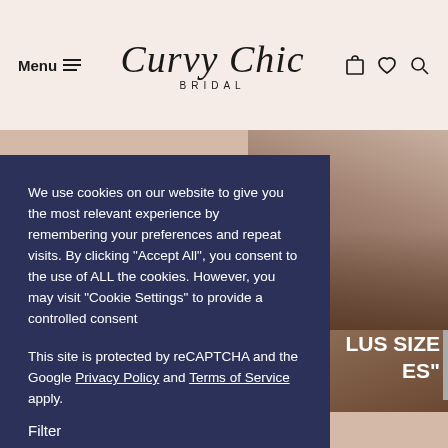Menu  Curvy Chic BRIDAL
[Figure (screenshot): Partial view of bridal website background with a model wearing a wedding dress and text 'y Curves' and 'LUS SIZE ES']
We use cookies on our website to give you the most relevant experience by remembering your preferences and repeat visits. By clicking "Accept All", you consent to the use of ALL the cookies. However, you may visit "Cookie Settings" to provide a controlled consent
This site is protected by reCAPTCHA and the Google Privacy Policy and Terms of Service apply.
Cookie Settings   Accept All